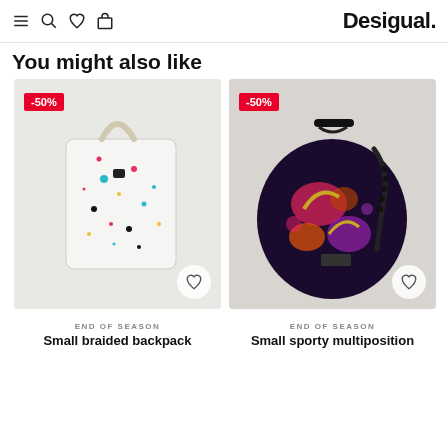Desigual.
You might also like
[Figure (photo): White braided backpack with colorful paint splatter pattern, -50% badge, heart wishlist icon]
[Figure (photo): Dark floral sporty multiposition bag with black beaded strap, -50% badge, heart wishlist icon]
END OF SEASON
Small braided backpack
END OF SEASON
Small sporty multiposition